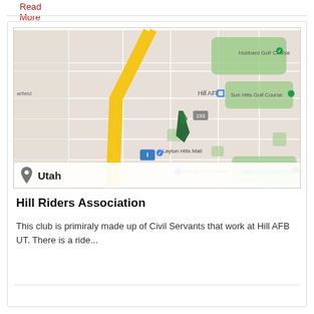Read More
[Figure (map): Google Maps screenshot showing the area around Hill AFB, Utah. Landmarks include Hubbard Golf Course, Sun Hills Golf Course, Hill AFB, Layton Hills Mall, Classic Fun Center, and Valley View Golf Course. A dark green marker is shown near the center of the map.]
Utah
Hill Riders Association
This club is primiraly made up of Civil Servants that work at Hill AFB UT. There is a ride...
Read More